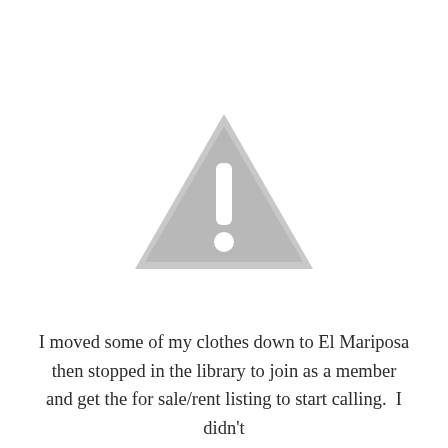[Figure (illustration): A grey warning/caution triangle icon with a white exclamation mark (bar and dot) in the center, outlined with a lighter grey border.]
I moved some of my clothes down to El Mariposa then stopped in the library to join as a member and get the for sale/rent listing to start calling.  I didn't